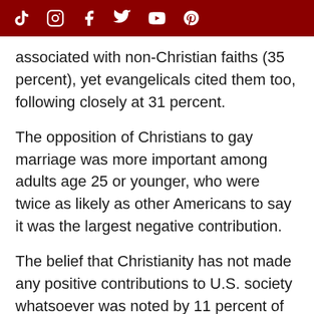[Social media icons: TikTok, Instagram, Facebook, Twitter, YouTube, Pinterest]
associated with non-Christian faiths (35 percent), yet evangelicals cited them too, following closely at 31 percent.
The opposition of Christians to gay marriage was more important among adults age 25 or younger, who were twice as likely as other Americans to say it was the largest negative contribution.
The belief that Christianity has not made any positive contributions to U.S. society whatsoever was noted by 11 percent of adults, and 25 percent said they could not recall any positive contribution made by